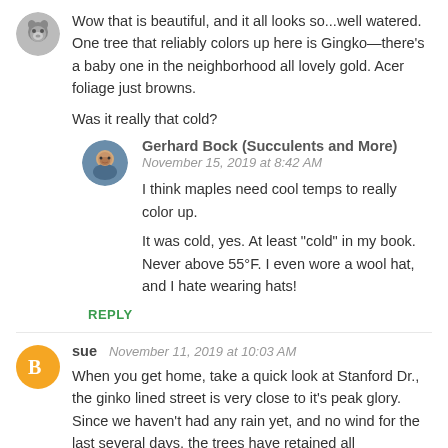[Figure (photo): Small circular avatar photo of a wolf or dog, top left]
Wow that is beautiful, and it all looks so...well watered. One tree that reliably colors up here is Gingko—there's a baby one in the neighborhood all lovely gold. Acer foliage just browns.
Was it really that cold?
[Figure (photo): Circular avatar photo of Gerhard Bock, a man in a blue jacket]
Gerhard Bock (Succulents and More)
November 15, 2019 at 8:42 AM
I think maples need cool temps to really color up.
It was cold, yes. At least "cold" in my book. Never above 55°F. I even wore a wool hat, and I hate wearing hats!
REPLY
[Figure (logo): Orange circular Blogger icon with B letter]
sue  November 11, 2019 at 10:03 AM
When you get home, take a quick look at Stanford Dr., the ginko lined street is very close to it's peak glory. Since we haven't had any rain yet, and no wind for the last several days, the trees have retained all